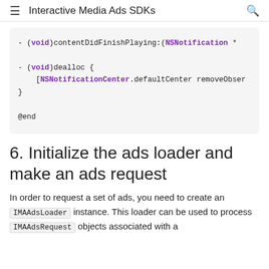Interactive Media Ads SDKs
[Figure (screenshot): Code block showing Objective-C code: - (void)contentDidFinishPlaying:(NSNotification * and - (void)dealloc { [NSNotificationCenter.defaultCenter removeObser ... } @end]
6. Initialize the ads loader and make an ads request
In order to request a set of ads, you need to create an IMAAdsLoader instance. This loader can be used to process IMAAdsRequest objects associated with a